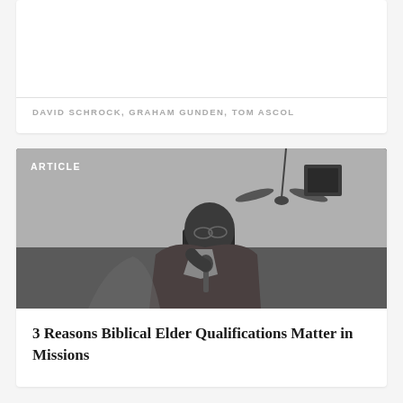DAVID SCHROCK, GRAHAM GUNDEN, TOM ASCOL
[Figure (photo): Black and white photograph of a man in a suit jacket bowing his head, speaking into a microphone. A ceiling fan and what appears to be a loudspeaker are visible in the background. The label 'ARTICLE' appears in white text in the upper left of the image.]
3 Reasons Biblical Elder Qualifications Matter in Missions